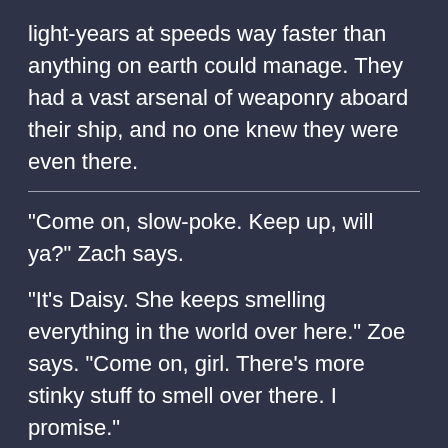light-years at speeds way faster than anything on earth could manage. They had a vast arsenal of weaponry aboard their ship, and no one knew they were even there.
“Come on, slow-poke. Keep up, will ya?” Zach says.
“It’s Daisy. She keeps smelling everything in the world over here.” Zoe says. “Come on, girl. There’s more stinky stuff to smell over there. I promise.”
Daisy ignores her, continues enjoying her